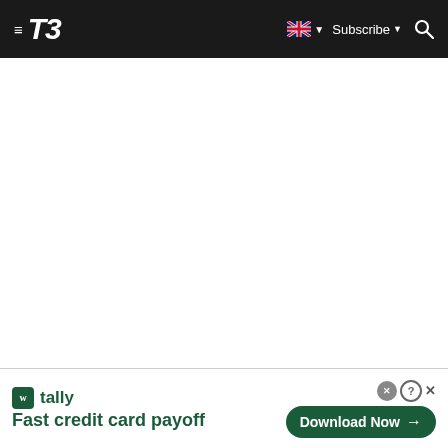T3 — Navigation bar with hamburger menu, T3 logo, UK flag, Subscribe, and Search
[Figure (screenshot): White blank content area below the T3 navigation bar]
[Figure (screenshot): Advertisement banner for Tally app: logo, 'Fast credit card payoff' text, and 'Download Now' button with close/help controls]